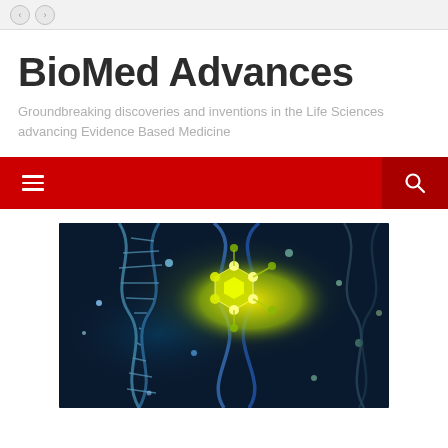← →
BioMed Advances
Groundbreaking discoveries and inventions in the Life Sciences advancing Evidence Based Medicine
[Figure (screenshot): Red navigation bar with hamburger menu icon on left and search icon on right]
[Figure (photo): Close-up 3D illustration of a DNA double helix with glowing yellow molecular structure, blue/grey tones with bright yellow-green highlights]